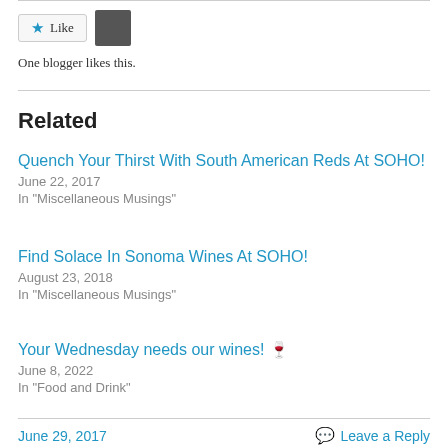[Figure (other): Like button with star icon and blogger avatar thumbnail]
One blogger likes this.
Related
Quench Your Thirst With South American Reds At SOHO!
June 22, 2017
In "Miscellaneous Musings"
Find Solace In Sonoma Wines At SOHO!
August 23, 2018
In "Miscellaneous Musings"
Your Wednesday needs our wines! 🍷
June 8, 2022
In "Food and Drink"
June 29, 2017    Leave a Reply